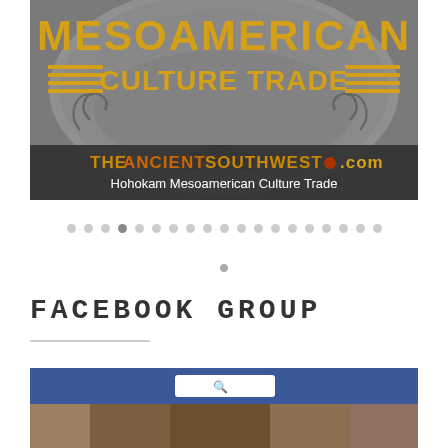[Figure (screenshot): Banner image for 'Mesoamerican Culture Trade' website (theancientsouthwest.com) featuring a Hohokam archaeological artifact with decorative circular design in grayscale, with bold yellow text overlay reading 'MESOAMERICAN CULTURE TRADE' and subtitle 'Hohokam Mesoamerican Culture Trade']
[Figure (other): Carousel navigation dots row showing approximately 19 dots with the 4th dot highlighted/active (darker)]
[Figure (other): Single centered navigation dot]
FACEBOOK GROUP
[Figure (screenshot): Screenshot of a Facebook page showing the blue Facebook navigation bar with a search box, 'Angeline' user profile with avatar, 'Home' link, and various icons. Below the navigation bar is a photo strip showing what appears to be artifacts.]